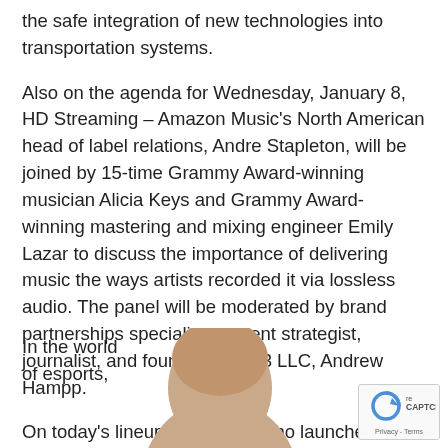the safe integration of new technologies into transportation systems.
Also on the agenda for Wednesday, January 8, HD Streaming – Amazon Music's North American head of label relations, Andre Stapleton, will be joined by 15-time Grammy Award-winning musician Alicia Keys and Grammy Award-winning mastering and mixing engineer Emily Lazar to discuss the importance of delivering music the ways artists recorded it via lossless audio. The panel will be moderated by brand partnerships specialist, content strategist, journalist, and founder of 1803 LLC, Andrew Hampp.
On today's lineup, disruptors who launched Walmart's game-changing new health clinic may cause you to rethink every problem you've ever encountered in the world of health care.
In the world of esports,
[Figure (photo): Photo of a bald person, head and shoulders visible at the bottom of the page]
[Figure (other): reCAPTCHA privacy badge in the bottom right corner showing the reCAPTCHA logo and Privacy - Terms text]